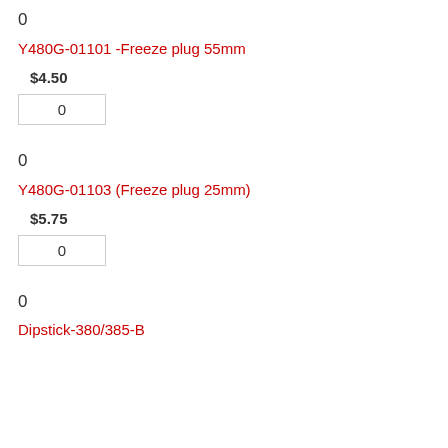0
Y480G-01101 -Freeze plug 55mm
$4.50
0
0
Y480G-01103 (Freeze plug 25mm)
$5.75
0
0
Dipstick-380/385-B